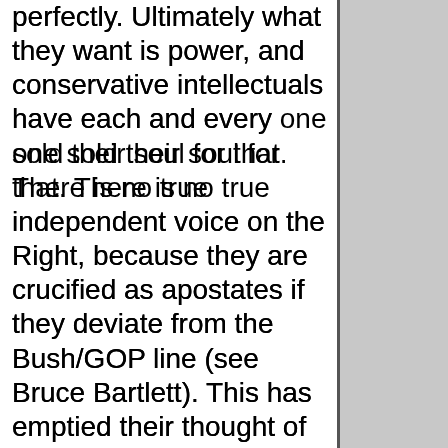perfectly. Ultimately what they want is power, and conservative intellectuals have each and every one sold their soul for that. There is no true independent voice on the Right, because they are crucified as apostates if they deviate from the Bush/GOP line (see Bruce Bartlett). This has emptied their thought of any true moral content.
And they so readily embrace lying because fundamentally they